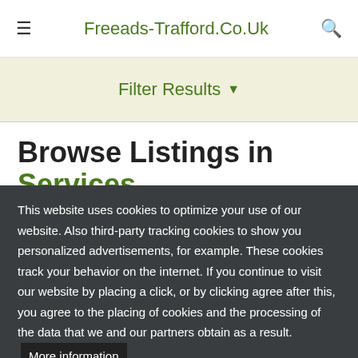≡   Freeads-Trafford.Co.Uk   🔍
Filter Results ▼
Browse Listings in Services
This website uses cookies to optimize your use of our website. Also third-party tracking cookies to show you personalized advertisements, for example. These cookies track your behavior on the internet. If you continue to visit our website by placing a click, or by clicking agree after this, you agree to the placing of cookies and the processing of the data that we and our partners obtain as a result.  More information
OK